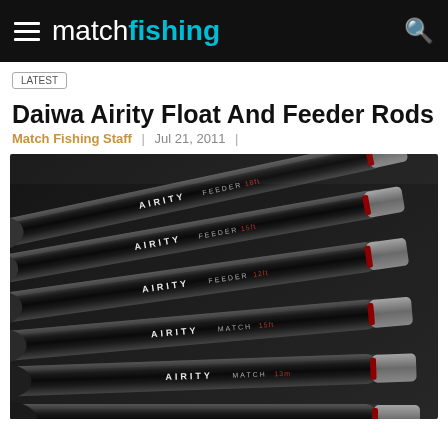matchfishing
LATEST
Daiwa Airity Float And Feeder Rods
Match Fishing Staff | Jul 21, 2011 |
[Figure (photo): Six Daiwa Airity fishing rods arranged diagonally, labeled AIRITY FEEDER and AIRITY MATCH with Daiwa logo on the ends, displayed against a dark background]